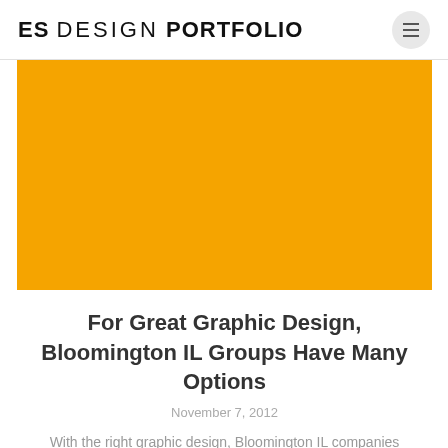ES DESIGN PORTFOLIO
[Figure (photo): Solid orange/amber colored rectangle image placeholder]
For Great Graphic Design, Bloomington IL Groups Have Many Options
November 7, 2012
With the right graphic design, Bloomington IL companies